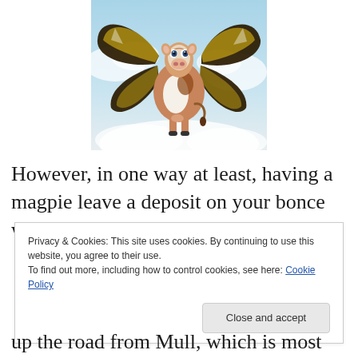[Figure (illustration): A brown and white cow with butterfly wings flying through cloudy sky]
However, in one way at least, having a magpie leave a deposit on your bonce would indeed be lucky – when you
Privacy & Cookies: This site uses cookies. By continuing to use this website, you agree to their use. To find out more, including how to control cookies, see here: Cookie Policy
up the road from Mull, which is most renowned for it's